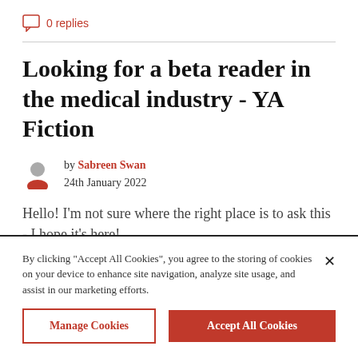0 replies
Looking for a beta reader in the medical industry - YA Fiction
by Sabreen Swan
24th January 2022
Hello! I'm not sure where the right place is to ask this - I hope it's here!
By clicking “Accept All Cookies”, you agree to the storing of cookies on your device to enhance site navigation, analyze site usage, and assist in our marketing efforts.
Manage Cookies
Accept All Cookies